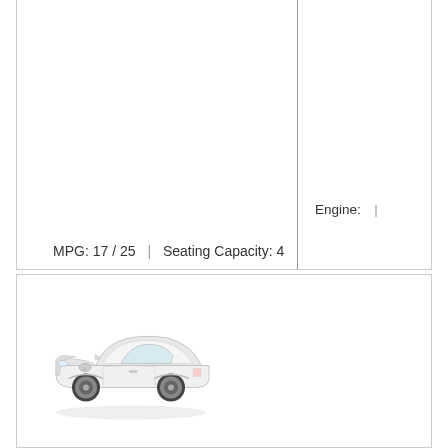Engine:  |
MPG: 17 / 25  |  Seating Capacity: 4
[Figure (photo): White Lexus SC convertible coupe, side-front view on white background]